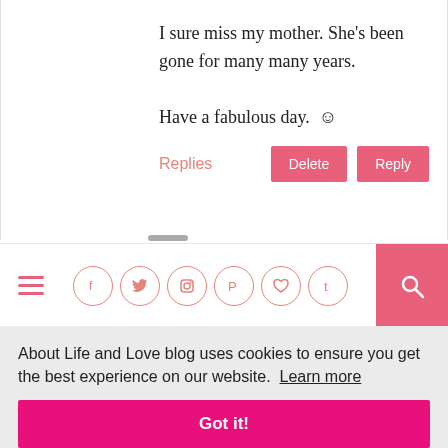I sure miss my mother. She's been gone for many many years.

Have a fabulous day. ☺
Replies
[Figure (screenshot): Navigation bar with hamburger menu, social media icons (Facebook, Twitter, Instagram, Pinterest, Heart, Tumblr) in pink outlined circles, and a pink search button]
About Life and Love blog uses cookies to ensure you get the best experience on our website. Learn more
Got it!